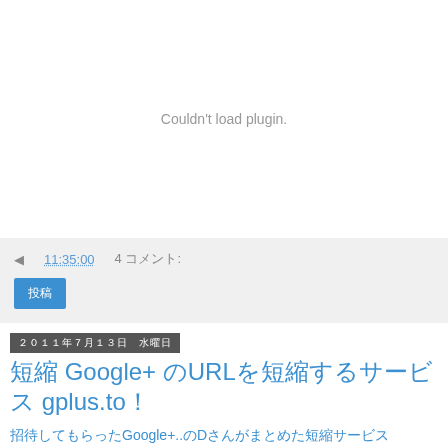[Figure (other): Plugin placeholder area showing 'Couldn't load plugin.' message in gray text on white background]
◀ 11:35:00   4 コメント:
投稿
2011年7月13日 水曜日
短縮 Google+ のURLを短縮するサービス gplus.to！
招待してもらったGoogle+...のDさんがまとめた短縮サービス